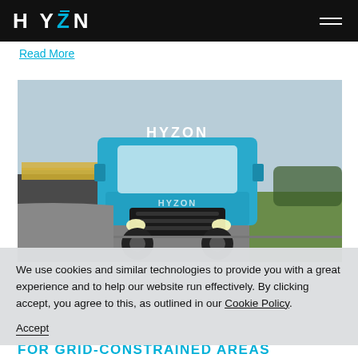HYZON
Read More
[Figure (photo): A blue Hyzon-branded semi truck with flatbed trailer driving on a highway, front-angle view, rural landscape in background.]
We use cookies and similar technologies to provide you with a great experience and to help our website run effectively. By clicking accept, you agree to this, as outlined in our Cookie Policy.
Accept
FOR GRID-CONSTRAINED AREAS